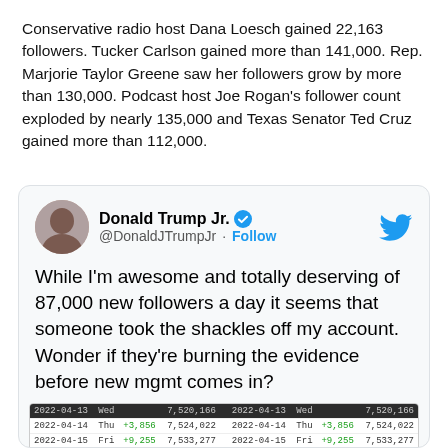Conservative radio host Dana Loesch gained 22,163 followers. Tucker Carlson gained more than 141,000. Rep. Marjorie Taylor Greene saw her followers grow by more than 130,000. Podcast host Joe Rogan's follower count exploded by nearly 135,000 and Texas Senator Ted Cruz gained more than 112,000.
[Figure (screenshot): Tweet from Donald Trump Jr. (@DonaldJTrumpJr) with Follow button and Twitter bird logo. Tweet text: 'While I'm awesome and totally deserving of 87,000 new followers a day it seems that someone took the shackles off my account. Wonder if they're burning the evidence before new mgmt comes in?' Below the tweet is a partial table showing Twitter follower data for dates 2022-04-13 through 2022-04-16 with values around 7,520,166 to 7,542,366.]